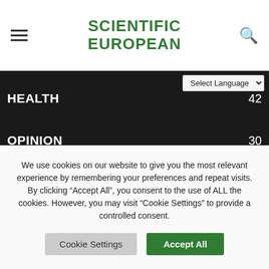SCIENTIFIC EUROPEAN
HEALTH 42
OPINION 30
ASTRONOMY & SPACE SCIENCE 27
SCIENTIFIC
We use cookies on our website to give you the most relevant experience by remembering your preferences and repeat visits. By clicking “Accept All”, you consent to the use of ALL the cookies. However, you may visit "Cookie Settings" to provide a controlled consent.